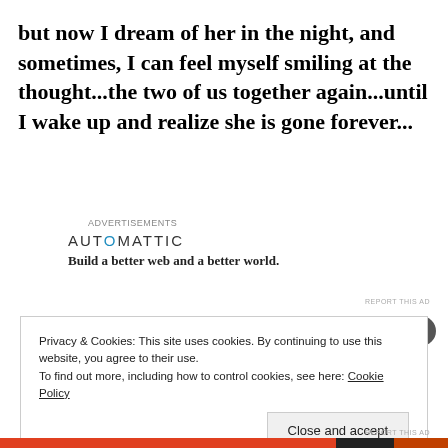but now I dream of her in the night, and sometimes, I can feel myself smiling at the thought...the two of us together again...until I wake up and realize she is gone forever...
[Figure (other): Automattic advertisement with logo and tagline 'Build a better web and a better world.']
Privacy & Cookies: This site uses cookies. By continuing to use this website, you agree to their use.
To find out more, including how to control cookies, see here: Cookie Policy
Close and accept